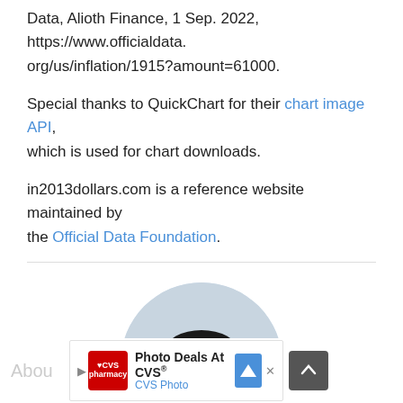Data, Alioth Finance, 1 Sep. 2022, https://www.officialdata.org/us/inflation/1915?amount=61000.
Special thanks to QuickChart for their chart image API, which is used for chart downloads.
in2013dollars.com is a reference website maintained by the Official Data Foundation.
[Figure (photo): Circular profile photo of a young man with glasses wearing a blue shirt, against a light gray circular background.]
About  [Ad: Photo Deals At CVS® CVS Photo]  [scroll to top button]